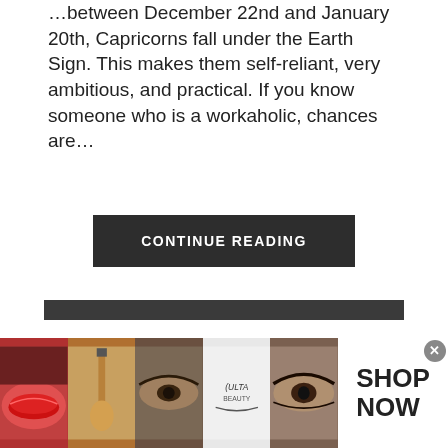…between December 22nd and January 20th, Capricorns fall under the Earth Sign. This makes them self-reliant, very ambitious, and practical. If you know someone who is a workaholic, chances are…
CONTINUE READING
LEGAL INFORMATION
This site is owned, operated and maintained by My Astro Secrets. Our main focus is to provide helpful information for our readers. Occasionally we
[Figure (photo): Ad banner at bottom of page with beauty/makeup images (lips, makeup brush, eyes, Ulta logo, eye close-up) and SHOP NOW text]